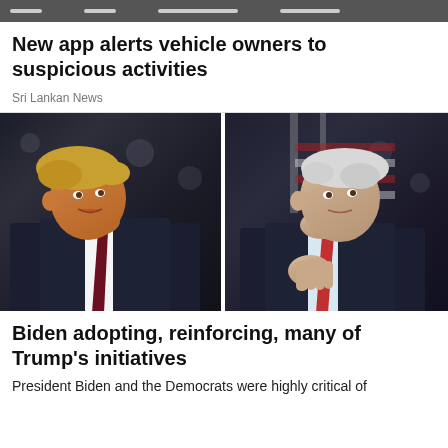New app alerts vehicle owners to suspicious activities
Sri Lankan News
[Figure (photo): Side-by-side composite photo of Donald Trump (left) speaking with American flags in background, and Joe Biden (right) gesturing with American flags in background.]
Biden adopting, reinforcing, many of Trump's initiatives
President Biden and the Democrats were highly critical of